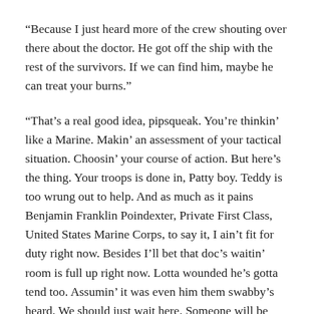“Because I just heard more of the crew shouting over there about the doctor. He got off the ship with the rest of the survivors. If we can find him, maybe he can treat your burns.”
“That’s a real good idea, pipsqueak. You’re thinkin’ like a Marine. Makin’ an assessment of your tactical situation. Choosin’ your course of action. But here’s the thing. Your troops is done in, Patty boy. Teddy is too wrung out to help. And as much as it pains Benjamin Franklin Poindexter, Private First Class, United States Marine Corps, to say it, I ain’t fit for duty right now. Besides I’ll bet that doc’s waitin’ room is full up right now. Lotta wounded he’s gotta tend too. Assumin’ it was even him them swabby’s heard. We should just wait here. Someone will be along to rescue us soon,” he said.
Something was different in Benny. Never once could I remember him saying not to do a thing, or that we weren’t going to find a way to accomplish what we set out to do.